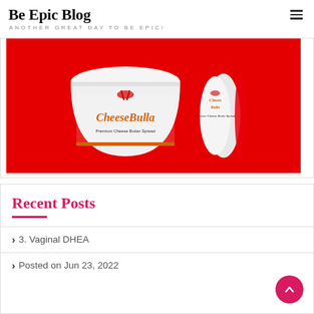Be Epic Blog
ANOTHER GREAT DAY TO BE EPIC!
[Figure (photo): Product photo of CheeseBella Premium Cheese Butter Spread containers on a red background. Two white tubs with orange branding and a strawberry/chili graphic are shown, one upright and one on its side showing the pink lid.]
Recent Posts
3. Vaginal DHEA
Posted on Jun 23, 2022